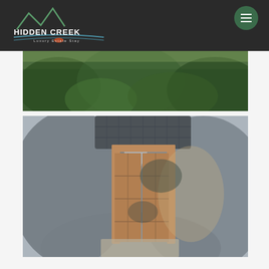[Figure (logo): Hidden Creek Luxury Estate Stay logo — white text with mountain/creek graphic on dark background]
[Figure (photo): Partial view of green lush foliage and vegetation, top portion of property exterior]
[Figure (photo): Wooden gate or door structure with grid panels surrounded by dark foliage and a dark tiled roof, outdoor pathway area at Hidden Creek estate]